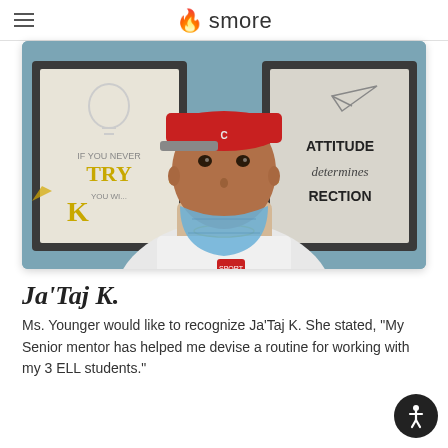smore
[Figure (photo): A young man wearing a red baseball cap and a blue face mask pulled down below his chin. He is wearing a white shirt and a chain necklace. Behind him are two motivational posters: one reads 'IF YOU NEVER TRY YOU WILL NEVER K...' and the other reads 'ATTITUDE determines RECTION'. The background is a teal/gray wall.]
Ja'Taj K.
Ms. Younger would like to recognize Ja'Taj K. She stated, "My Senior mentor has helped me devise a routine for working with my 3 ELL students."